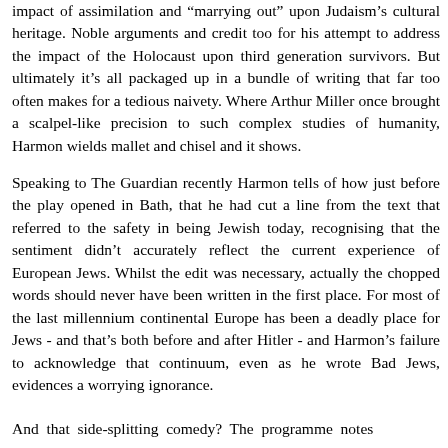impact of assimilation and "marrying out" upon Judaism's cultural heritage. Noble arguments and credit too for his attempt to address the impact of the Holocaust upon third generation survivors. But ultimately it's all packaged up in a bundle of writing that far too often makes for a tedious naivety. Where Arthur Miller once brought a scalpel-like precision to such complex studies of humanity, Harmon wields mallet and chisel and it shows.
Speaking to The Guardian recently Harmon tells of how just before the play opened in Bath, that he had cut a line from the text that referred to the safety in being Jewish today, recognising that the sentiment didn't accurately reflect the current experience of European Jews. Whilst the edit was necessary, actually the chopped words should never have been written in the first place. For most of the last millennium continental Europe has been a deadly place for Jews - and that's both before and after Hitler - and Harmon's failure to acknowledge that continuum, even as he wrote Bad Jews, evidences a worrying ignorance.
And that side-splitting comedy? The programme notes